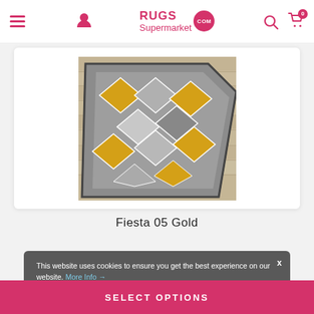RUGS Supermarket .COM
[Figure (photo): A grey and gold/yellow geometric diamond-patterned rug on a light wood floor, showing the corner of the rug.]
Fiesta 05 Gold
This website uses cookies to ensure you get the best experience on our website. More Info →
£27.00 £79.00
SELECT OPTIONS